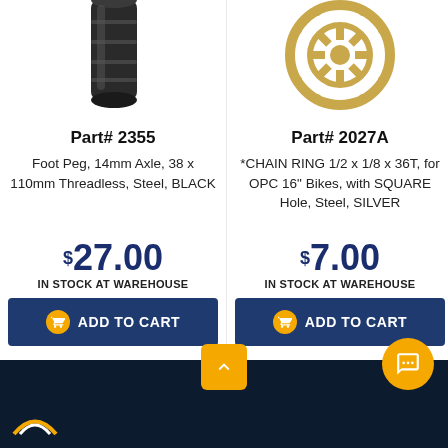[Figure (photo): Foot peg bicycle part, black cylindrical shape, cropped at top]
[Figure (photo): Chain ring sprocket, silver/gold steel gear, cropped at top]
Part# 2355
Part# 2027A
Foot Peg, 14mm Axle, 38 x 110mm Threadless, Steel, BLACK
*CHAIN RING 1/2 x 1/8 x 36T, for OPC 16" Bikes, with SQUARE Hole, Steel, SILVER
$27.00
IN STOCK AT WAREHOUSE
$7.00
IN STOCK AT WAREHOUSE
ADD TO CART
ADD TO CART